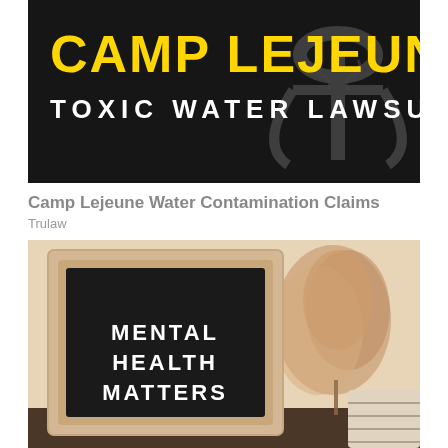[Figure (illustration): Camp Lejeune Toxic Water Lawsuit banner with yellow bold text 'CAMP LEJEUNE' and white text 'TOXIC WATER LAWSUIT' on a dark/black background with a military anchor emblem graphic on the right side.]
Camp Lejeune Water Contamination Claims
Trulaw
[Figure (photo): Photo of a black letter board with white plug-in letters reading 'MENTAL HEALTH MATTERS' on three lines, framed in a light wood frame. Placed on a dark shelf with a decorative fluffy pampas grass arrangement to the right and a striped pillow in the lower right corner. Beige/cream wall background.]